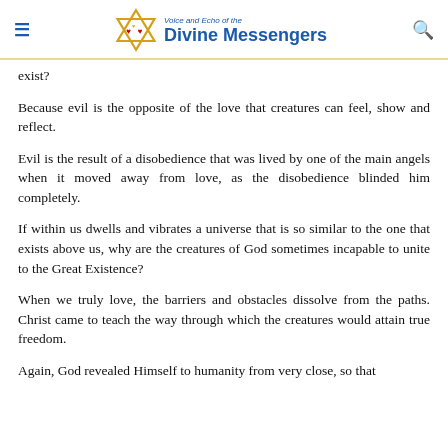Voice and Echo of the Divine Messengers
exist?
Because evil is the opposite of the love that creatures can feel, show and reflect.
Evil is the result of a disobedience that was lived by one of the main angels when it moved away from love, as the disobedience blinded him completely.
If within us dwells and vibrates a universe that is so similar to the one that exists above us, why are the creatures of God sometimes incapable to unite to the Great Existence?
When we truly love, the barriers and obstacles dissolve from the paths. Christ came to teach the way through which the creatures would attain true freedom.
Again, God revealed Himself to humanity from very close, so that